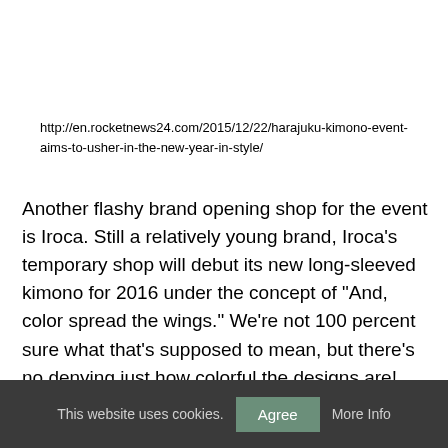http://en.rocketnews24.com/2015/12/22/harajuku-kimono-event-aims-to-usher-in-the-new-year-in-style/
Another flashy brand opening shop for the event is Iroca. Still a relatively young brand, Iroca’s temporary shop will debut its new long-sleeved kimono for 2016 under the concept of “And, color spread the wings.” We’re not 100 percent sure what that’s supposed to mean, but there’s no denying just how colorful the designs are!
This website uses cookies. Agree More Info